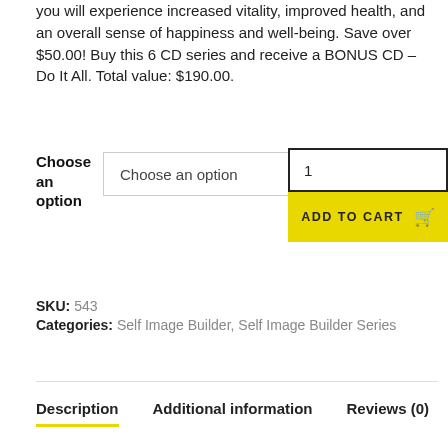you will experience increased vitality, improved health, and an overall sense of happiness and well-being. Save over $50.00! Buy this 6 CD series and receive a BONUS CD – Do It All. Total value: $190.00.
Choose an option | 1 | ADD TO CART
SKU: 543
Categories: Self Image Builder, Self Image Builder Series
Description  Additional information  Reviews (0)